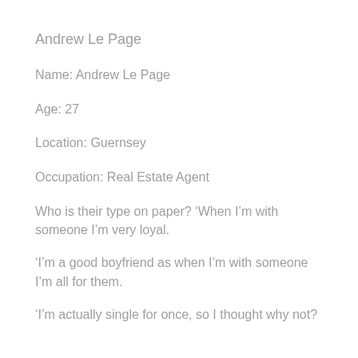Andrew Le Page
Name: Andrew Le Page
Age: 27
Location: Guernsey
Occupation: Real Estate Agent
Who is their type on paper? ‘When I’m with someone I’m very loyal.
‘I’m a good boyfriend as when I’m with someone I’m all for them.
‘I’m actually single for once, so I thought why not?